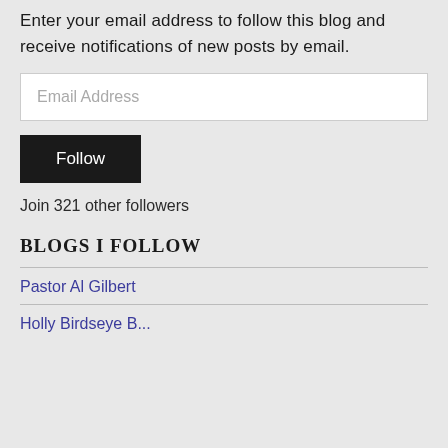Enter your email address to follow this blog and receive notifications of new posts by email.
[Figure (other): Email Address input field (white text box with placeholder text 'Email Address')]
[Figure (other): Follow button (black button with white 'Follow' text)]
Join 321 other followers
BLOGS I FOLLOW
Pastor Al Gilbert
Holly Birdseye Be...